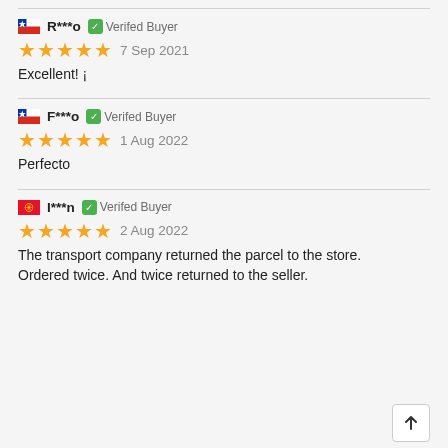R***o — Verifed Buyer | ★★★★★ 7 Sep 2021 | Excellent! ¡
F***o — Verifed Buyer | ★★★★★ 1 Aug 2022 | Perfecto
I***n — Verifed Buyer | ★★★★★ 2 Aug 2022 | The transport company returned the parcel to the store. Ordered twice. And twice returned to the seller.